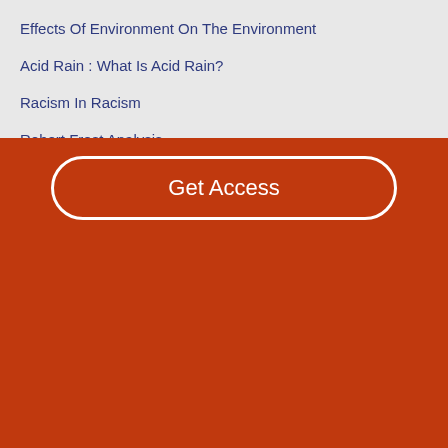Effects Of Environment On The Environment
Acid Rain : What Is Acid Rain?
Racism In Racism
Robert Frost Analysis
Bartleby.com
Great Books Online
©2021 Bartleby.com
Get Access